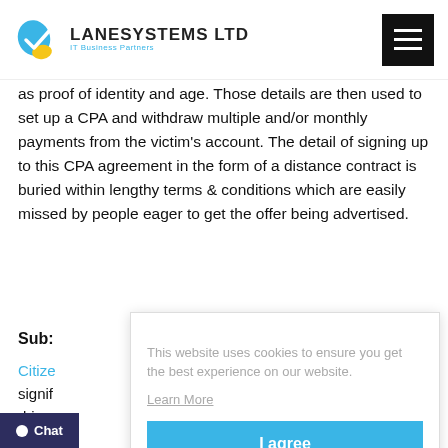LANESYSTEMS LTD — IT Business Partners
as proof of identity and age. Those details are then used to set up a CPA and withdraw multiple and/or monthly payments from the victim's account. The detail of signing up to this CPA agreement in the form of a distance contract is buried within lengthy terms & conditions which are easily missed by people eager to get the offer being advertised.
Sub:
Citize signif driver
The g
This website uses cookies to ensure you get the best experience on our website. Learn More I agree